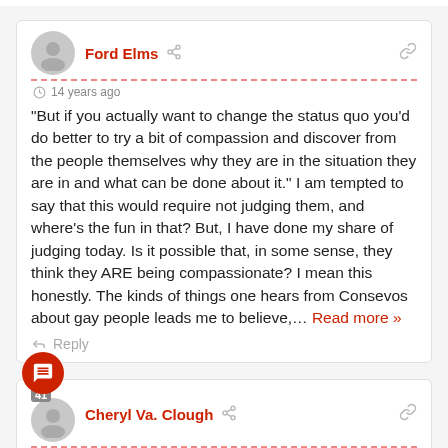Ford Elms
14 years ago
“But if you actually want to change the status quo you’d do better to try a bit of compassion and discover from the people themselves why they are in the situation they are in and what can be done about it.” I am tempted to say that this would require not judging them, and where’s the fun in that? But, I have done my share of judging today. Is it possible that, in some sense, they think they ARE being compassionate? I mean this honestly. The kinds of things one hears from Consevos about gay people leads me to believe,... Read more »
Reply
Cheryl Va. Clough
14 years ago
I hate abortion. I wish it didn’t happen. But, I refuse to make